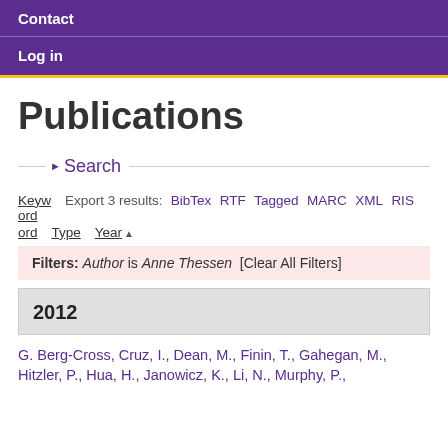Contact
Log in
Publications
▶ Search
Export 3 results: BibTex RTF Tagged MARC XML RIS
Keyword  Type  Year▲
Filters: Author is Anne Thessen [Clear All Filters]
2012
G. Berg-Cross, Cruz, I., Dean, M., Finin, T., Gahegan, M., Hitzler, P., Hua, H., Janowicz, K., Li, N., Murphy, P.,